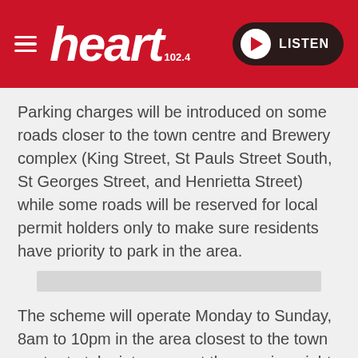[Figure (logo): Heart 102.4 radio station header with hamburger menu, Heart logo in white italic text, and a LISTEN button with play icon on dark background]
Parking charges will be introduced on some roads closer to the town centre and Brewery complex (King Street, St Pauls Street South, St Georges Street, and Henrietta Street) while some roads will be reserved for local permit holders only to make sure residents have priority to park in the area.
The scheme will operate Monday to Sunday, 8am to 10pm in the area closest to the town centre to take into account the growing night-time economy around the Brewery complex in direct response to requests by residents.
Cllr Vernon Smith, cabinet member for highways, "We've